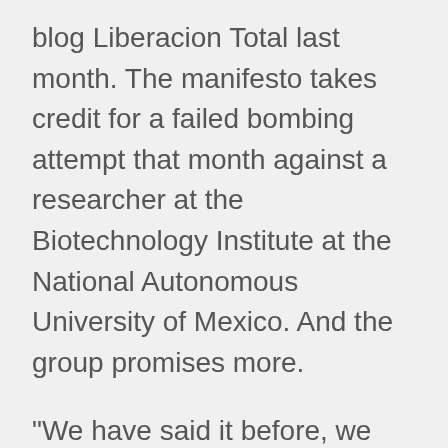blog Liberacion Total last month. The manifesto takes credit for a failed bombing attempt that month against a researcher at the Biotechnology Institute at the National Autonomous University of Mexico. And the group promises more.
“We have said it before, we act without any compassion in the feral defense of Wild Nature,” the manifesto states. “Did those who modify and destroy the Earth think their actions wouldn't have repercussions? That they wouldn't pay a price? If they thought so, they are